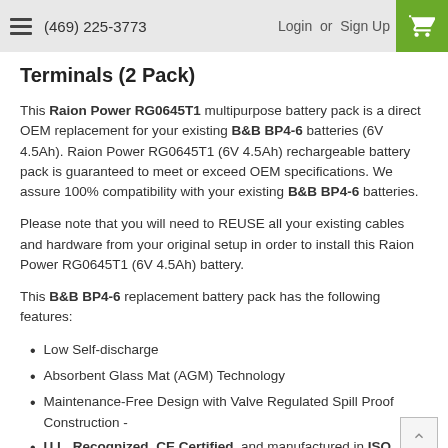(469) 225-3773  Login or Sign Up
Terminals (2 Pack)
This Raion Power RG0645T1 multipurpose battery pack is a direct OEM replacement for your existing B&B BP4-6 batteries (6V 4.5Ah). Raion Power RG0645T1 (6V 4.5Ah) rechargeable battery pack is guaranteed to meet or exceed OEM specifications. We assure 100% compatibility with your existing B&B BP4-6 batteries.
Please note that you will need to REUSE all your existing cables and hardware from your original setup in order to install this Raion Power RG0645T1 (6V 4.5Ah) battery.
This B&B BP4-6 replacement battery pack has the following features:
Low Self-discharge
Absorbent Glass Mat (AGM) Technology
Maintenance-Free Design with Valve Regulated Spill Proof Construction -
U.L. Recognized, CE Certified, and manufactured in ISO